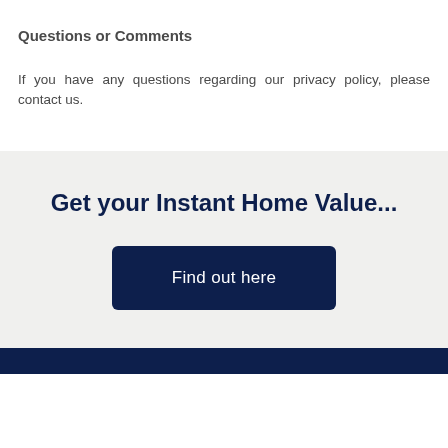Questions or Comments
If you have any questions regarding our privacy policy, please contact us.
Get your Instant Home Value...
Find out here